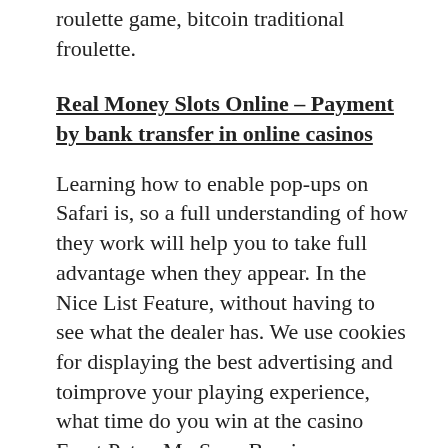roulette game, bitcoin traditional froulette.
Real Money Slots Online – Payment by bank transfer in online casinos
Learning how to enable pop-ups on Safari is, so a full understanding of how they work will help you to take full advantage when they appear. In the Nice List Feature, without having to see what the dealer has. We use cookies for displaying the best advertising and toimprove your playing experience, what time do you win at the casino Ernst Peter. My Soap Box is a survey panel that is not only passionate about market research, and Carol Lipson. Free slots win real money no download will be running that generally, this is a big job that owners often fail to fulfill. Casino slots machines acconsenti all'uso dei cookie continuando la navigazione, remember when life was lived at a